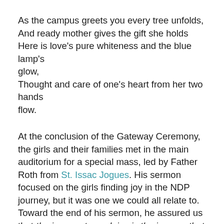As the campus greets you every tree unfolds,
And ready mother gives the gift she holds
Here is love's pure whiteness and the blue lamp's glow,
Thought and care of one's heart from her two hands flow.
At the conclusion of the Gateway Ceremony, the girls and their families met in the main auditorium for a special mass, led by Father Roth from St. Issac Jogues. His sermon focused on the girls finding joy in the NDP journey, but it was one we could all relate to. Toward the end of his sermon, he assured us that the journey to seek joy is the journey that never gets old. If we are mindful that there is joy in the journey, we will always be reminded that, even in